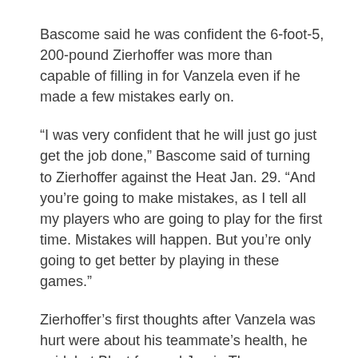Bascome said he was confident the 6-foot-5, 200-pound Zierhoffer was more than capable of filling in for Vanzela even if he made a few mistakes early on.
“I was very confident that he will just go just get the job done,” Bascome said of turning to Zierhoffer against the Heat Jan. 29. “And you’re going to make mistakes, as I tell all my players who are going to play for the first time. Mistakes will happen. But you’re only going to get better by playing in these games.”
Zierhoffer’s first thoughts after Vanzela was hurt were about his teammate’s health, he said, but Blast forward Jamie Thomas quickly grabbed a ball and started helping the keeper warm up, shouting “Focus!” when Zierhoffer would look over to see how his fellow keeper was doing.
“He got me going. And once the game starts, you get in